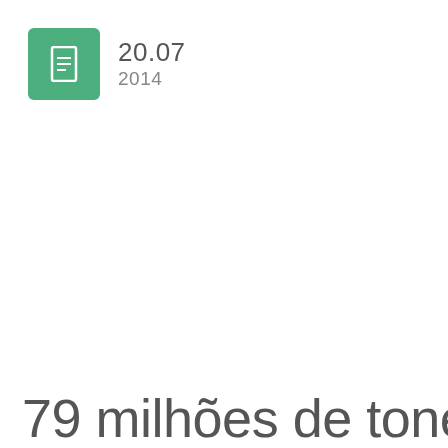[Figure (logo): Green rounded square icon with a white document/file symbol in the center]
20.07
2014
79 milhões de toneladas de